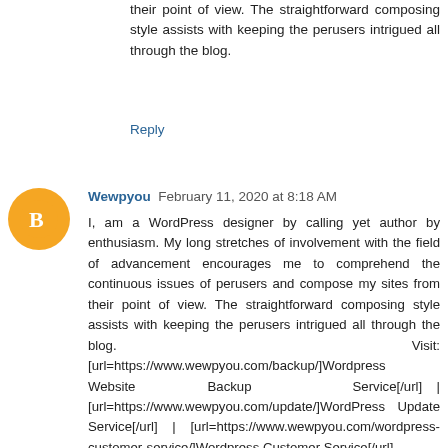their point of view. The straightforward composing style assists with keeping the perusers intrigued all through the blog.
Reply
Wewpyou  February 11, 2020 at 8:18 AM
I, am a WordPress designer by calling yet author by enthusiasm. My long stretches of involvement with the field of advancement encourages me to comprehend the continuous issues of perusers and compose my sites from their point of view. The straightforward composing style assists with keeping the perusers intrigued all through the blog. Visit: [url=https://www.wewpyou.com/backup/]Wordpress Website Backup Service[/url] | [url=https://www.wewpyou.com/update/]WordPress Update Service[/url] | [url=https://www.wewpyou.com/wordpress-customer-service/]Wordpress Customer Service[/url]
Reply